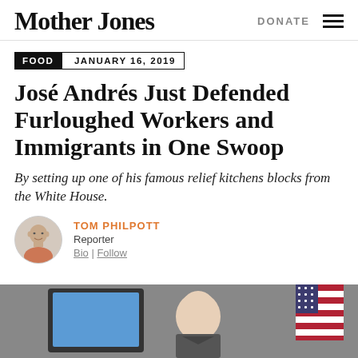Mother Jones | DONATE
FOOD  JANUARY 16, 2019
José Andrés Just Defended Furloughed Workers and Immigrants in One Swoop
By setting up one of his famous relief kitchens blocks from the White House.
TOM PHILPOTT
Reporter
Bio | Follow
[Figure (photo): Photo of a person at an event with an American flag visible in the background]